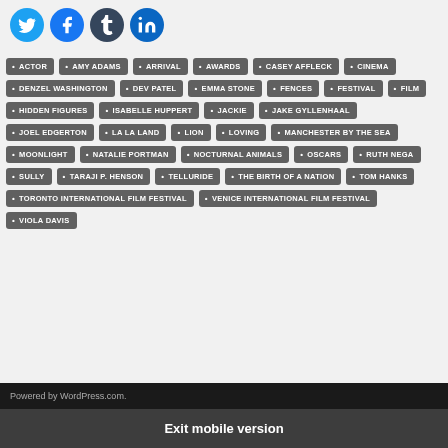[Figure (other): Social media share icons: Twitter, Facebook, Tumblr, LinkedIn]
ACTOR • AMY ADAMS • ARRIVAL • AWARDS • CASEY AFFLECK • CINEMA • DENZEL WASHINGTON • DEV PATEL • EMMA STONE • FENCES • FESTIVAL • FILM • HIDDEN FIGURES • ISABELLE HUPPERT • JACKIE • JAKE GYLLENHAAL • JOEL EDGERTON • LA LA LAND • LION • LOVING • MANCHESTER BY THE SEA • MOONLIGHT • NATALIE PORTMAN • NOCTURNAL ANIMALS • OSCARS • RUTH NEGA • SULLY • TARAJI P. HENSON • TELLURIDE • THE BIRTH OF A NATION • TOM HANKS • TORONTO INTERNATIONAL FILM FESTIVAL • VENICE INTERNATIONAL FILM FESTIVAL • VIOLA DAVIS
Powered by WordPress.com.
Exit mobile version